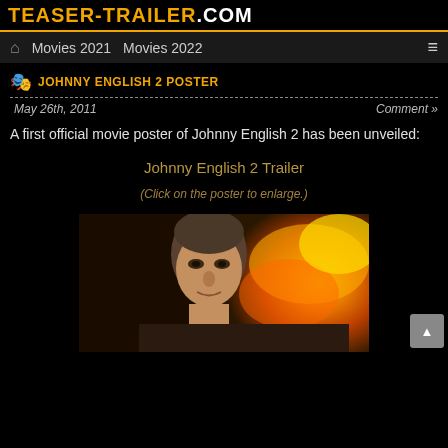TEASER-TRAILER.COM
Movies 2021   Movies 2022
JOHNNY ENGLISH 2 POSTER
May 26th, 2011
Comment »
A first official movie poster of Johnny English 2 has been unveiled:
Johnny English 2 Trailer
(Click on the poster to enlarge.)
[Figure (photo): Movie poster for Johnny English 2 showing a man's face against a fiery explosion background]